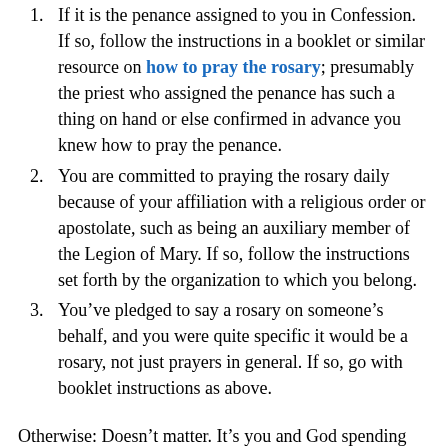1. It is the penance assigned to you in Confession. If so, follow the instructions in a booklet or similar resource on how to pray the rosary; presumably the priest who assigned the penance has such a thing on hand or else confirmed in advance you knew how to pray the penance.
2. You are committed to praying the rosary daily because of your affiliation with a religious order or apostolate, such as being an auxiliary member of the Legion of Mary. If so, follow the instructions set forth by the organization to which you belong.
3. You've pledged to say a rosary on someone's behalf, and you were quite specific it would be a rosary, not just prayers in general. If so, go with booklet instructions as above.
Otherwise: Doesn't matter. It's you and God spending time together loving one another. Think of it as sitting on a log, you and a close friend,